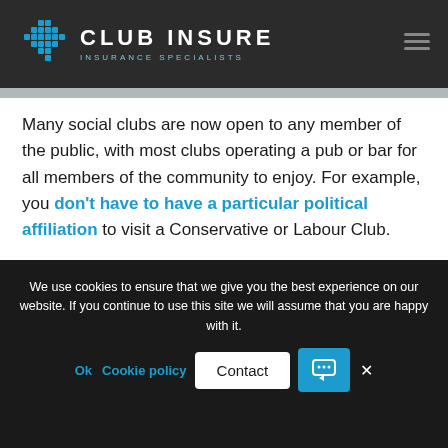CLUB INSURE INSURANCE SPECIALISTS
Many social clubs are now open to any member of the public, with most clubs operating a pub or bar for all members of the community to enjoy. For example, you don't have to have a particular political affiliation to visit a Conservative or Labour Club.
It's time for social clubs to diversify and expand their offering even further. How can clubs attract new
We use cookies to ensure that we give you the best experience on our website. If you continue to use this site we will assume that you are happy with it. Ok Cookie policy